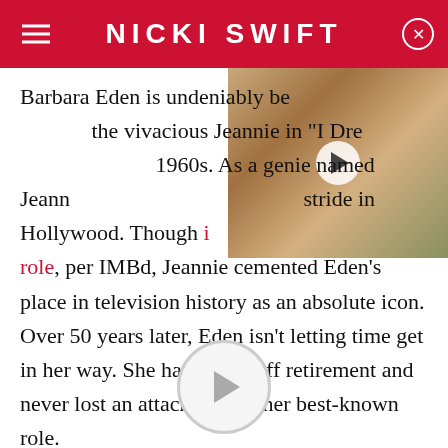NICKI SWIFT
Barbara Eden is undeniably best known for playing the vivacious Jeannie in "I Dream of Jeannie" in the 1960s. As a genie named Jeannie, she took Hollywood in stride. Though it wasn't her first role, per IMBd, Jeannie cemented Eden's place in television history as an absolute icon. Over 50 years later, Eden isn't letting time get in her way. She has sworn off retirement and never lost an attachment to her best-known role.
[Figure (photo): Thumbnail image of a smiling young woman with wavy hair and earrings, with a video play button overlay]
[Figure (other): Circular video play button at the bottom center of the page]